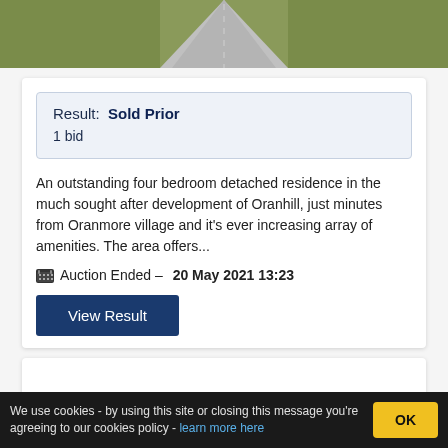[Figure (photo): Top portion of a road/driveway perspective shot with green grass on sides, concrete path leading away]
Result: Sold Prior
1 bid
An outstanding four bedroom detached residence in the much sought after development of Oranhill, just minutes from Oranmore village and it's ever increasing array of amenities. The area offers...
Auction Ended – 20 May 2021 13:23
View Result
We use cookies - by using this site or closing this message you're agreeing to our cookies policy - learn more here
OK